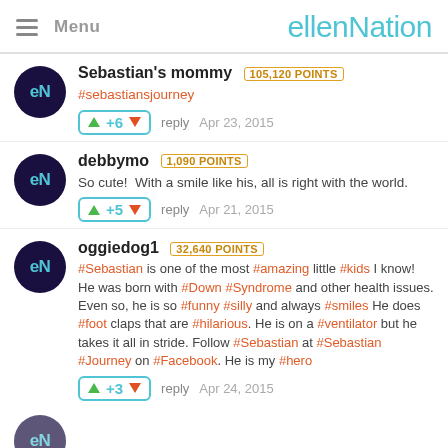Menu | ellenNation
Sebastian's mommy 105,120 POINTS
#sebastiansjourney
+6 reply Apr 23, 2015
debbymo 1,090 POINTS
So cute!  With a smile like his, all is right with the world.
+5 reply Apr 21, 2015
oggiedog1 32,640 POINTS
#Sebastian is one of the most #amazing little #kids I know! He was born with #Down #Syndrome and other health issues. Even so, he is so #funny #silly and always #smiles He does #foot claps that are #hilarious. He is on a #ventilator but he takes it all in stride. Follow #Sebastian at #Sebastian #Journey on #Facebook. He is my #hero
+3 reply Apr 24, 2015